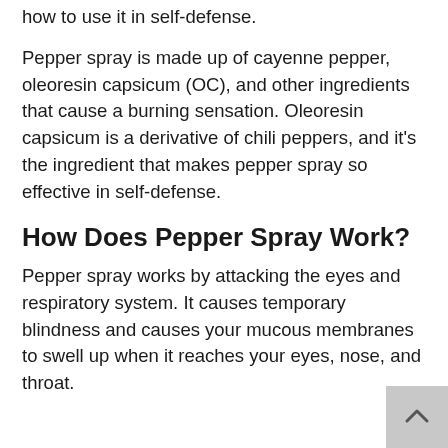how to use it in self-defense.
Pepper spray is made up of cayenne pepper, oleoresin capsicum (OC), and other ingredients that cause a burning sensation. Oleoresin capsicum is a derivative of chili peppers, and it’s the ingredient that makes pepper spray so effective in self-defense.
How Does Pepper Spray Work?
Pepper spray works by attacking the eyes and respiratory system. It causes temporary blindness and causes your mucous membranes to swell up when it reaches your eyes, nose, and throat.